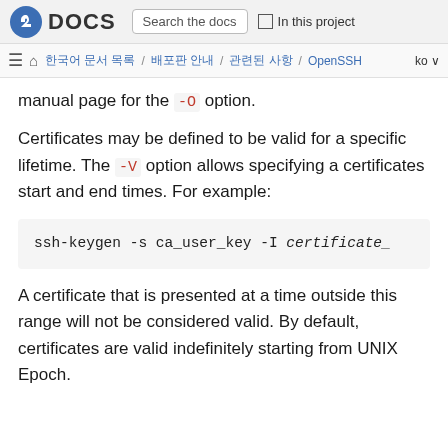Fedora DOCS | Search the docs | In this project
≡ 🏠 한국어 문서 목록 / 배포판 안내 / 관련된 사항 / OpenSSH  ko
manual page for the -O option.
Certificates may be defined to be valid for a specific lifetime. The -V option allows specifying a certificates start and end times. For example:
ssh-keygen -s ca_user_key -I certificate_
A certificate that is presented at a time outside this range will not be considered valid. By default, certificates are valid indefinitely starting from UNIX Epoch.